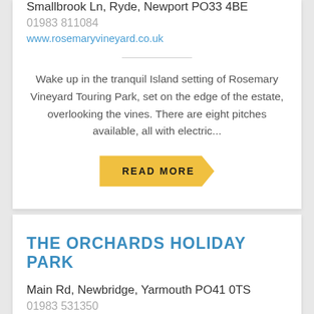Smallbrook Ln, Ryde, Newport PO33 4BE
01983 811084
www.rosemaryvineyard.co.uk
Wake up in the tranquil Island setting of Rosemary Vineyard Touring Park, set on the edge of the estate, overlooking the vines. There are eight pitches available, all with electric...
READ MORE
THE ORCHARDS HOLIDAY PARK
Main Rd, Newbridge, Yarmouth PO41 0TS
01983 531350
www.orchards-holiday-park.co.uk